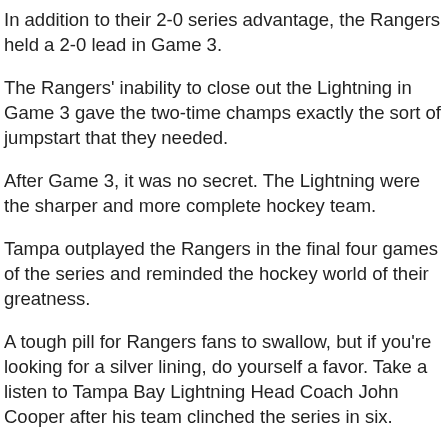In addition to their 2-0 series advantage, the Rangers held a 2-0 lead in Game 3.
The Rangers' inability to close out the Lightning in Game 3 gave the two-time champs exactly the sort of jumpstart that they needed.
After Game 3, it was no secret. The Lightning were the sharper and more complete hockey team.
Tampa outplayed the Rangers in the final four games of the series and reminded the hockey world of their greatness.
A tough pill for Rangers fans to swallow, but if you're looking for a silver lining, do yourself a favor. Take a listen to Tampa Bay Lightning Head Coach John Cooper after his team clinched the series in six.
Cooper made it clear to anyone listening that he thinks over the next few years, the Rangers will be in the position to be the last